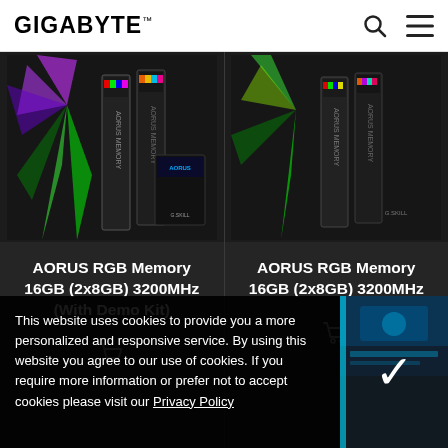GIGABYTE
[Figure (photo): AORUS RGB Memory product with colorful RGB lighting effect, left product card image]
AORUS RGB Memory 16GB (2x8GB) 3200MHz (With Demo Kit)
[Figure (photo): AORUS RGB Memory product with colorful RGB lighting effect, right product card image]
AORUS RGB Memory 16GB (2x8GB) 3200MHz
This website uses cookies to provide you a more personalized and responsive service. By using this website you agree to our use of cookies. If you require more information or prefer not to accept cookies please visit our Privacy Policy